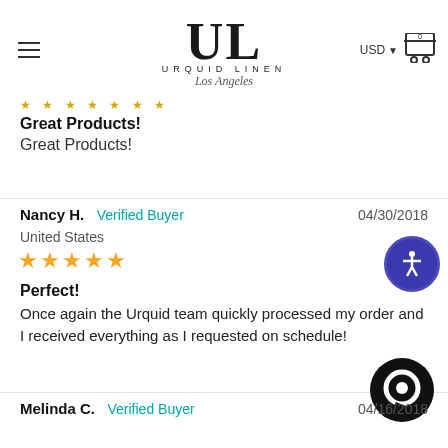[Figure (logo): Urquid Linen Los Angeles logo with large UL monogram and stylized text]
Great Products!
Great Products!
Nancy H.   Verified Buyer   04/30/2018
United States
★★★★★
Perfect!
Once again the Urquid team quickly processed my order and I received everything as I requested on schedule!
Melinda C.   Verified Buyer   04/16/2018